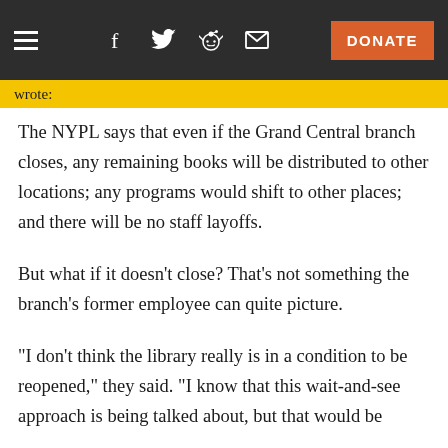≡  f  🐦  👽  ✉  DONATE
wrote:
The NYPL says that even if the Grand Central branch closes, any remaining books will be distributed to other locations; any programs would shift to other places; and there will be no staff layoffs.
But what if it doesn't close? That's not something the branch's former employee can quite picture.
"I don't think the library really is in a condition to be reopened," they said. "I know that this wait-and-see approach is being talked about, but that would be